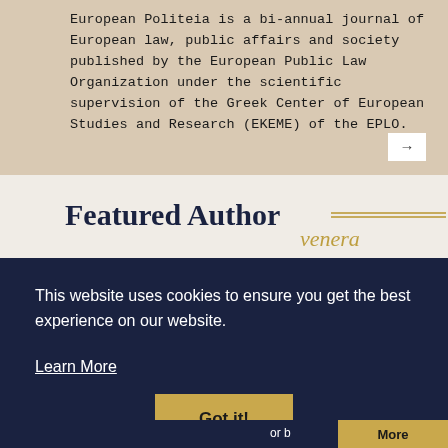European Politeia is a bi-annual journal of European law, public affairs and society published by the European Public Law Organization under the scientific supervision of the Greek Center of European Studies and Research (EKEME) of the EPLO.
Featured Author
This website uses cookies to ensure you get the best experience on our website.
Learn More
Got it!
or b... More